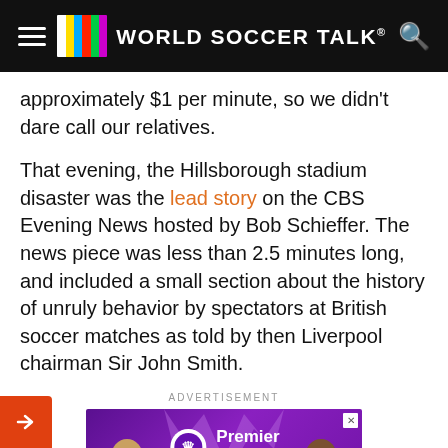World Soccer Talk
approximately $1 per minute, so we didn't dare call our relatives.
That evening, the Hillsborough stadium disaster was the lead story on the CBS Evening News hosted by Bob Schieffer. The news piece was less than 2.5 minutes long, and included a small section about the history of unruly behavior by spectators at British soccer matches as told by then Liverpool chairman Sir John Smith.
ADVERTISEMENT
[Figure (photo): Premier League advertisement showing two soccer players with Premier League logo and text 'SEASON BEGINS AUG 5']